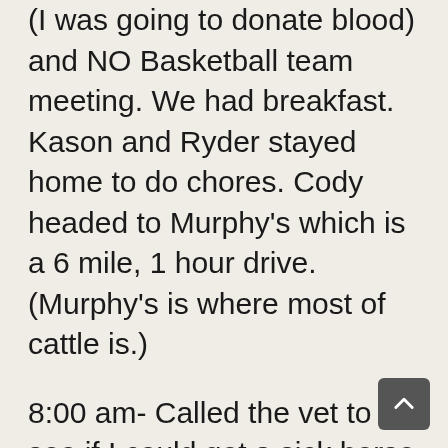(I was going to donate blood) and NO Basketball team meeting. We had breakfast. Kason and Ryder stayed home to do chores. Cody headed to Murphy's which is a 6 mile, 1 hour drive. (Murphy's is where most of cattle is.)
8:00 am- Called the vet to see if I could get a sick horse in to see a vet and also take Cade's dog, Bear in to remove his staples from his ACL surgery. They said to head in.
10:00- 10:30 am – Cade, Reata and I